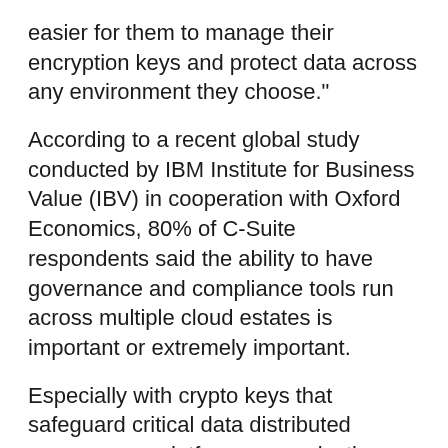easier for them to manage their encryption keys and protect data across any environment they choose."
According to a recent global study conducted by IBM Institute for Business Value (IBV) in cooperation with Oxford Economics, 80% of C-Suite respondents said the ability to have governance and compliance tools run across multiple cloud estates is important or extremely important.
Especially with crypto keys that safeguard critical data distributed across many platforms, organisations can suffer from operational complexity, or non-compliance, if they don't have a holistic view of their data security posture.
With a single, secured and cloud-based view of who has access to critical data, businesses can demonstrate their compliance with greater ease and speed in near real-time, the company states.